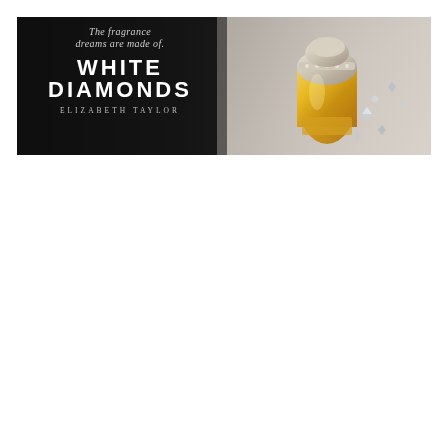[Figure (photo): White Diamonds by Elizabeth Taylor fragrance advertisement. Left side shows dark/black background with italic white text 'The fragrance dreams are made of.' above large bold white text 'WHITE DIAMONDS' and smaller spaced capitals 'ELIZABETH TAYLOR'. Right side shows the golden/amber perfume bottle with diamond-studded top and scattered crystal/diamond accents on a lighter background.]